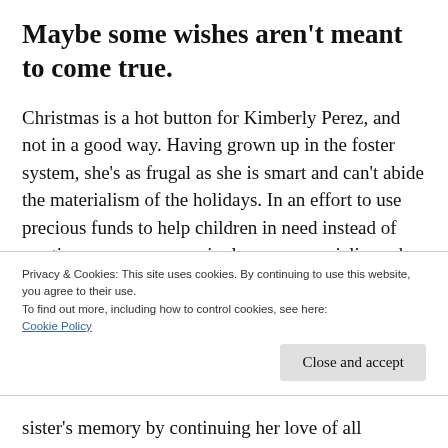Maybe some wishes aren't meant to come true.
Christmas is a hot button for Kimberly Perez, and not in a good way. Having grown up in the foster system, she's as frugal as she is smart and can't abide the materialism of the holidays. In an effort to use precious funds to help children in need instead of wasting money on meaningless commercialism, she pitches a new city ordinance to Red River's town council that
Privacy & Cookies: This site uses cookies. By continuing to use this website, you agree to their use.
To find out more, including how to control cookies, see here: Cookie Policy
sister's memory by continuing her love of all